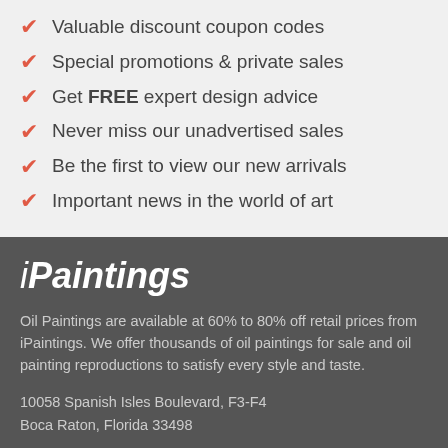Valuable discount coupon codes
Special promotions & private sales
Get FREE expert design advice
Never miss our unadvertised sales
Be the first to view our new arrivals
Important news in the world of art
iPaintings
Oil Paintings are available at 60% to 80% off retail prices from iPaintings. We offer thousands of oil paintings for sale and oil painting reproductions to satisfy every style and taste.
10058 Spanish Isles Boulevard, F3-F4
Boca Raton, Florida 33498
U.S. & Canada:  800-660-0278
International:  +1-561-314-3500